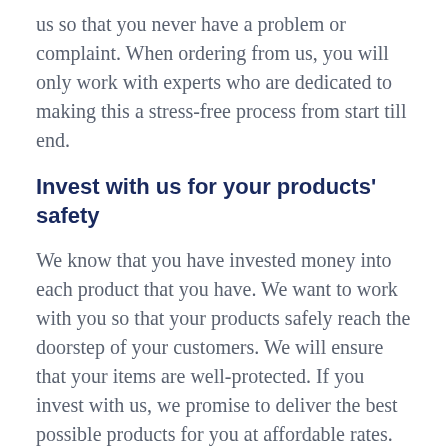us so that you never have a problem or complaint. When ordering from us, you will only work with experts who are dedicated to making this a stress-free process from start till end.
Invest with us for your products' safety
We know that you have invested money into each product that you have. We want to work with you so that your products safely reach the doorstep of your customers. We will ensure that your items are well-protected. If you invest with us, we promise to deliver the best possible products for you at affordable rates. With us, you can stay rest assured that all our quality services meet industry standards and regulations.